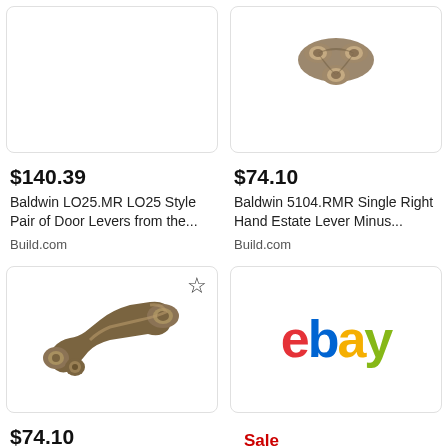[Figure (photo): Product image placeholder - Baldwin door lever (top left), white/blank area]
$140.39
Baldwin LO25.MR LO25 Style Pair of Door Levers from the...
Build.com
[Figure (photo): Product image - Baldwin door hardware/hinge in bronze/brass finish (top right)]
$74.10
Baldwin 5104.RMR Single Right Hand Estate Lever Minus...
Build.com
[Figure (photo): Product image - Baldwin door lever in antique bronze finish (bottom left) with star/bookmark icon]
$74.10
[Figure (logo): eBay logo in multicolor (red e, blue b, yellow a, green y) on white background]
Sale